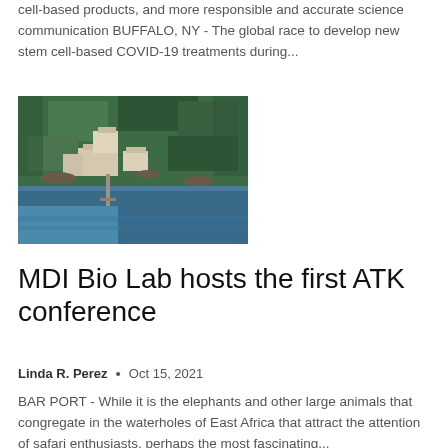cell-based products, and more responsible and accurate science communication BUFFALO, NY - The global race to develop new stem cell-based COVID-19 treatments during...
[Figure (photo): Aerial photograph of MDI Bio Lab facility on a wooded peninsula surrounded by water, showing buildings among dense green trees with a dock visible.]
MDI Bio Lab hosts the first ATK conference
Linda R. Perez • Oct 15, 2021
BAR PORT - While it is the elephants and other large animals that congregate in the waterholes of East Africa that attract the attention of safari enthusiasts, perhaps the most fascinating...